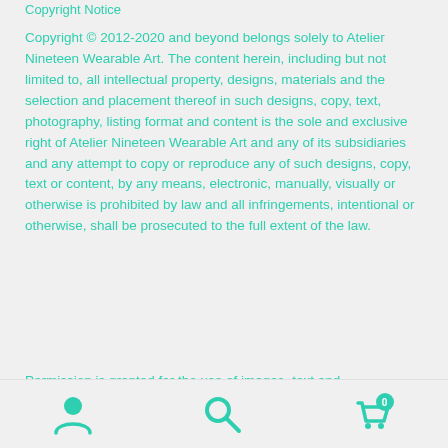Copyright Notice
Copyright © 2012-2020 and beyond belongs solely to Atelier Nineteen Wearable Art. The content herein, including but not limited to, all intellectual property, designs, materials and the selection and placement thereof in such designs, copy, text, photography, listing format and content is the sole and exclusive right of Atelier Nineteen Wearable Art and any of its subsidiaries and any attempt to copy or reproduce any of such designs, copy, text or content, by any means, electronic, manually, visually or otherwise is prohibited by law and all infringements, intentional or otherwise, shall be prosecuted to the full extent of the law.
Permission is granted for the use of images, text and